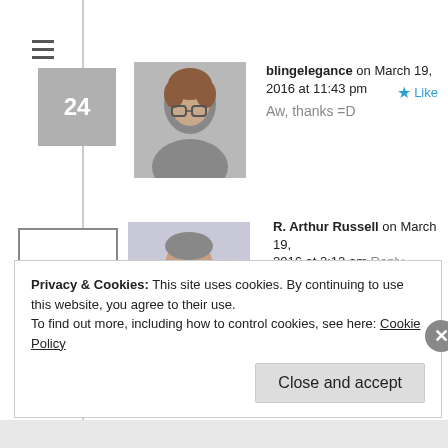≡
24
blingelegance on March 19, 2016 at 11:43 pm
Aw, thanks =D
25
R. Arthur Russell on March 19, 2016 at 2:12 am
What a great article! Well written! Thank you for posting!
Privacy & Cookies: This site uses cookies. By continuing to use this website, you agree to their use.
To find out more, including how to control cookies, see here: Cookie Policy
Close and accept